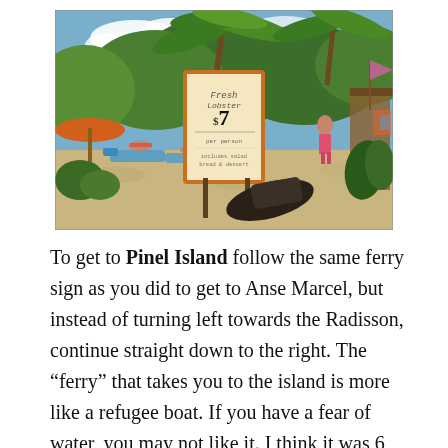[Figure (photo): Outdoor beach scene with palm trees, sandy ground, sunbathers on chairs, a chalkboard sign advertising Fresh Lobster at $7, tropical vegetation, and a wooden structure on the right.]
To get to Pinel Island follow the same ferry sign as you did to get to Anse Marcel, but instead of turning left towards the Radisson, continue straight down to the right. The “ferry” that takes you to the island is more like a refugee boat. If you have a fear of water, you may not like it. I think it was 6 bucks